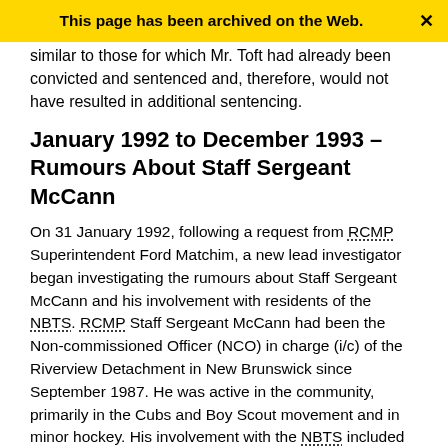This page has been archived on the Web.
similar to those for which Mr. Toft had already been convicted and sentenced and, therefore, would not have resulted in additional sentencing.
January 1992 to December 1993 – Rumours About Staff Sergeant McCann
On 31 January 1992, following a request from RCMP Superintendent Ford Matchim, a new lead investigator began investigating the rumours about Staff Sergeant McCann and his involvement with residents of the NBTS. RCMP Staff Sergeant McCann had been the Non-commissioned Officer (NCO) in charge (i/c) of the Riverview Detachment in New Brunswick since September 1987. He was active in the community, primarily in the Cubs and Boy Scout movement and in minor hockey. His involvement with the NBTS included inviting a boy from the